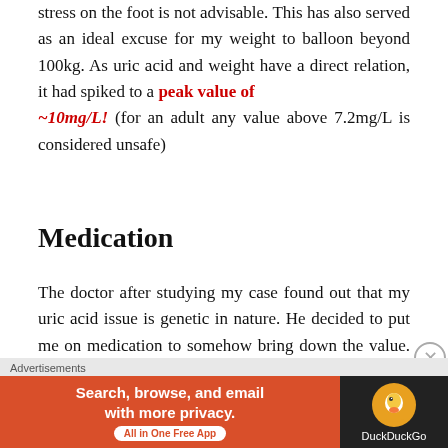stress on the foot is not advisable. This has also served as an ideal excuse for my weight to balloon beyond 100kg. As uric acid and weight have a direct relation, it had spiked to a peak value of ~10mg/L! (for an adult any value above 7.2mg/L is considered unsafe)
Medication
The doctor after studying my case found out that my uric acid issue is genetic in nature. He decided to put me on medication to somehow bring down the value. Febuccip 40mg /Zyloric 100mg have become part of my daily life now. The next time
[Figure (other): DuckDuckGo advertisement banner: 'Search, browse, and email with more privacy. All in One Free App' with DuckDuckGo logo on dark background]